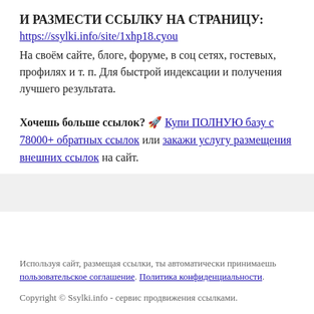И РАЗМЕСТИ ССЫЛКУ НА СТРАНИЦУ:
https://ssylki.info/site/1xhp18.cyou
На своём сайте, блоге, форуме, в соц сетях, гостевых, профилях и т. п. Для быстрой индексации и получения лучшего результата.
Хочешь больше ссылок? 🚀 Купи ПОЛНУЮ базу с 78000+ обратных ссылок или закажи услугу размещения внешних ссылок на сайт.
Используя сайт, размещая ссылки, ты автоматически принимаешь пользовательское соглашение. Политика конфиденциальности.
Copyright © Ssylki.info - сервис продвижения ссылками.